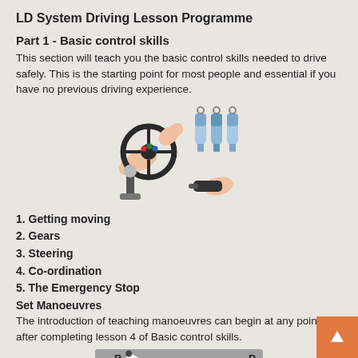LD System Driving Lesson Programme
Part 1 - Basic control skills
This section will teach you the basic control skills needed to drive safely. This is the starting point for most people and essential if you have no previous driving experience.
[Figure (illustration): Illustration of a steering wheel with hands, car keys, gear stick, and a hand using a remote control/indicator]
1. Getting moving
2. Gears
3. Steering
4. Co-ordination
5. The Emergency Stop
Set Manoeuvres
The introduction of teaching manoeuvres can begin at any point after completing lesson 4 of Basic control skills.
[Figure (illustration): Diagram showing a car manoeuvre with cars labeled B, D, C, A on a road with directional arrow indicating a turning movement]